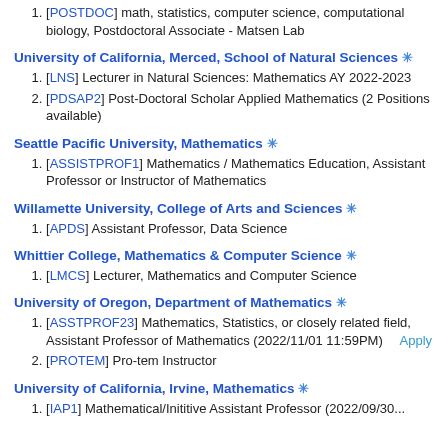[POSTDOC] math, statistics, computer science, computational biology, Postdoctoral Associate - Matsen Lab
University of California, Merced, School of Natural Sciences ❊
[LNS] Lecturer in Natural Sciences: Mathematics AY 2022-2023
[PDSAP2] Post-Doctoral Scholar Applied Mathematics (2 Positions available)
Seattle Pacific University, Mathematics ❊
[ASSISTPROF1] Mathematics / Mathematics Education, Assistant Professor or Instructor of Mathematics
Willamette University, College of Arts and Sciences ❊
[APDS] Assistant Professor, Data Science
Whittier College, Mathematics & Computer Science ❊
[LMCS] Lecturer, Mathematics and Computer Science
University of Oregon, Department of Mathematics ❊
[ASSTPROF23] Mathematics, Statistics, or closely related field, Assistant Professor of Mathematics (2022/11/01 11:59PM)   Apply
[PROTEM] Pro-tem Instructor
University of California, Irvine, Mathematics ❊
[IAP1] Mathematical/Inititive Assistant Professor (2022/09/30...